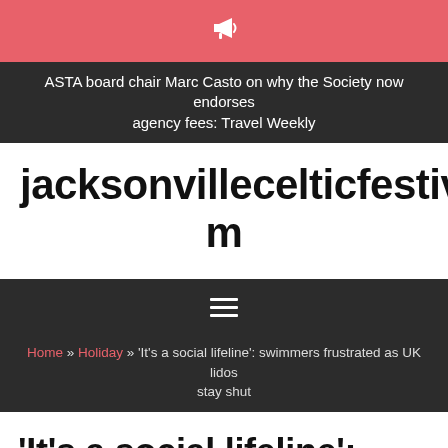[Figure (other): Pink/salmon banner with white megaphone icon]
ASTA board chair Marc Casto on why the Society now endorses agency fees: Travel Weekly
jacksonvillecelticfestival.com
[Figure (other): Dark navigation bar with hamburger menu icon (three horizontal lines)]
Home » Holiday » 'It's a social lifeline': swimmers frustrated as UK lidos stay shut
'It's a social lifeline': swimmers frustrated as UK lidos stay shut